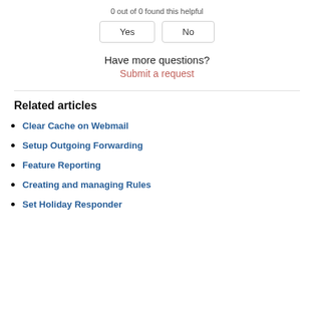0 out of 0 found this helpful
Yes | No
Have more questions?
Submit a request
Related articles
Clear Cache on Webmail
Setup Outgoing Forwarding
Feature Reporting
Creating and managing Rules
Set Holiday Responder